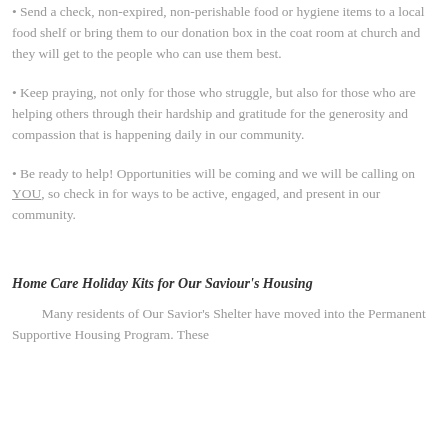• Send a check, non-expired, non-perishable food or hygiene items to a local food shelf or bring them to our donation box in the coat room at church and they will get to the people who can use them best.
• Keep praying, not only for those who struggle, but also for those who are helping others through their hardship and gratitude for the generosity and compassion that is happening daily in our community.
• Be ready to help! Opportunities will be coming and we will be calling on YOU, so check in for ways to be active, engaged, and present in our community.
Home Care Holiday Kits for Our Saviour's Housing
Many residents of Our Savior's Shelter have moved into the Permanent Supportive Housing Program. These